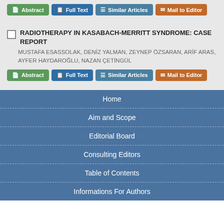Abstract | Full Text | Similar Articles | Mail to Editor
RADIOTHERAPY IN KASABACH-MERRITT SYNDROME: CASE REPORT
MUSTAFA ESASSOLAK, DENİZ YALMAN, ZEYNEP ÖZSARAN, ARİF ARAS, AYFER HAYDAROĞLU, NAZAN ÇETİNGÜL
Abstract | Full Text | Similar Articles | Mail to Editor
Home
Aim and Scope
Editorial Board
Consulting Editors
Table of Contents
Informations For Authors